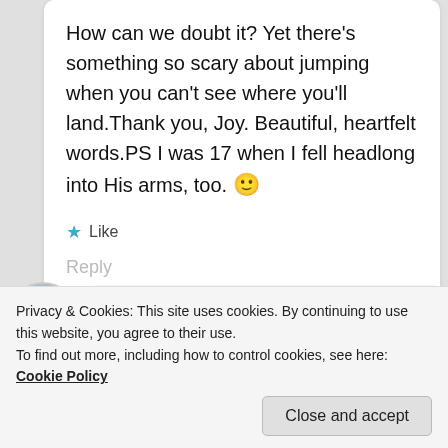How can we doubt it? Yet there's something so scary about jumping when you can't see where you'll land.Thank you, Joy. Beautiful, heartfelt words.PS I was 17 when I fell headlong into His arms, too. 🙂
★ Like
Reply
Joy Lenton
April 20, 2013 at 8:02 pm
Privacy & Cookies: This site uses cookies. By continuing to use this website, you agree to their use.
To find out more, including how to control cookies, see here: Cookie Policy
Close and accept